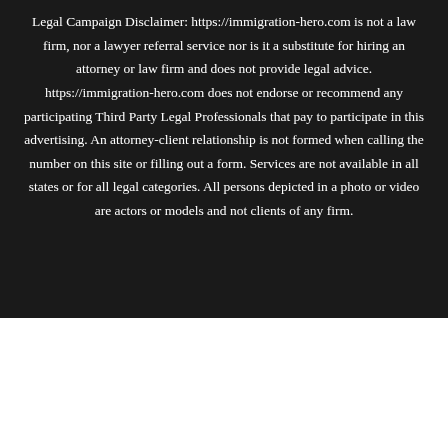Legal Campaign Disclaimer: https://immigration-hero.com is not a law firm, nor a lawyer referral service nor is it a substitute for hiring an attorney or law firm and does not provide legal advice. https://immigration-hero.com does not endorse or recommend any participating Third Party Legal Professionals that pay to participate in this advertising. An attorney-client relationship is not formed when calling the number on this site or filling out a form. Services are not available in all states or for all legal categories. All persons depicted in a photo or video are actors or models and not clients of any firm.